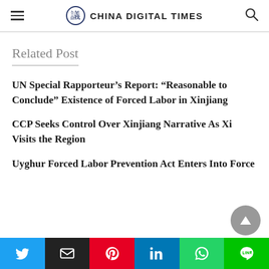CHINA DIGITAL TIMES
Related Post
UN Special Rapporteur's Report: “Reasonable to Conclude” Existence of Forced Labor in Xinjiang
CCP Seeks Control Over Xinjiang Narrative As Xi Visits the Region
Uyghur Forced Labor Prevention Act Enters Into Force